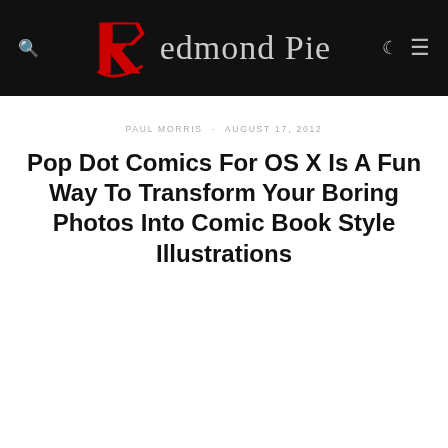Redmond Pie
PAUL MORRIS · AUGUST 17, 2012
Pop Dot Comics For OS X Is A Fun Way To Transform Your Boring Photos Into Comic Book Style Illustrations